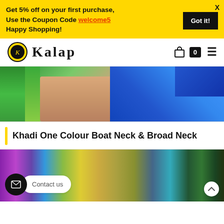Get 5% off on your first purchase, Use the Coupon Code welcome5 Happy Shopping!
Got it!
[Figure (logo): Kalap brand logo with circular emblem and stylized text]
[Figure (photo): Close-up product photo of a woman wearing a blue and green Indian saree/blouse showing midriff]
Khadi One Colour Boat Neck & Broad Neck
[Figure (photo): Stacked colourful khadi fabric rolls in multiple colours including purple, green, yellow, teal, and dark green]
Contact us